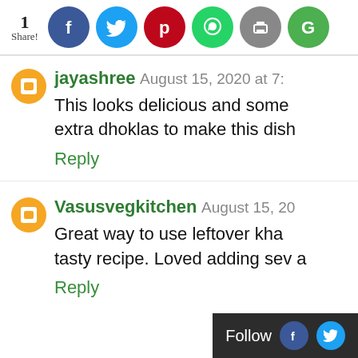[Figure (screenshot): Social share bar with count '1 Share!' and social media icons: Facebook (blue), Twitter (blue), Pinterest (red), WhatsApp (green), Print (gray), Google (green)]
jayashree August 15, 2020 at 7:
This looks delicious and some extra dhoklas to make this dish
Reply
Vasusvegkitchen August 15, 20
Great way to use leftover kha tasty recipe. Loved adding sev a
Reply
[Figure (screenshot): Follow bar with 'Follow' text and Facebook and Twitter circle icons on dark background]